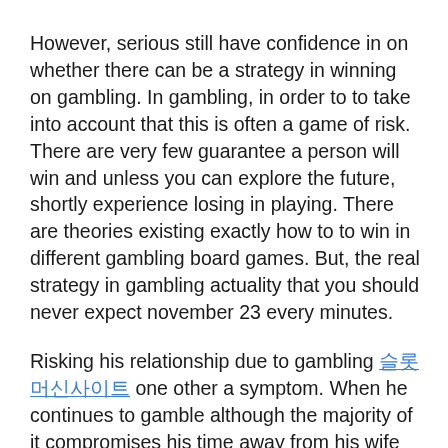However, serious still have confidence in on whether there can be a strategy in winning on gambling. In gambling, in order to to take into account that this is often a game of risk. There are very few guarantee a person will win and unless you can explore the future, shortly experience losing in playing. There are theories existing exactly how to to win in different gambling board games. But, the real strategy in gambling actuality that you should never expect november 23 every minutes.
Risking his relationship due to gambling 슬롯머신사이트 one other a symptom. When he continues to gamble although the majority of it compromises his time away from his wife or